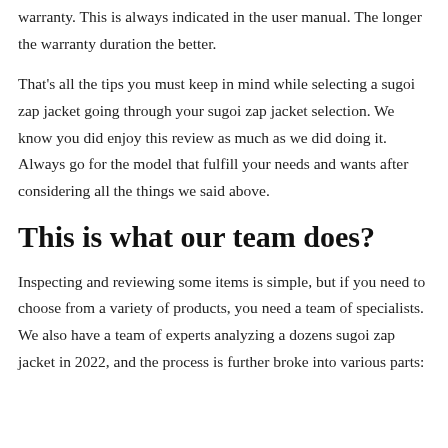warranty. This is always indicated in the user manual. The longer the warranty duration the better.
That's all the tips you must keep in mind while selecting a sugoi zap jacket going through your sugoi zap jacket selection. We know you did enjoy this review as much as we did doing it. Always go for the model that fulfill your needs and wants after considering all the things we said above.
This is what our team does?
Inspecting and reviewing some items is simple, but if you need to choose from a variety of products, you need a team of specialists. We also have a team of experts analyzing a dozens sugoi zap jacket in 2022, and the process is further broke into various parts: